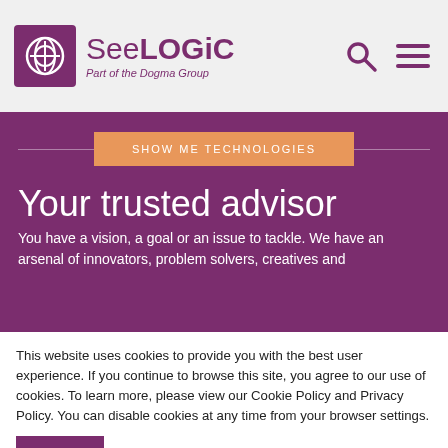[Figure (logo): SeeLOGiC logo with purple square icon and text 'SeeLOGiC — Part of the Dogma Group']
[Figure (other): Search and hamburger menu icons in purple]
SHOW ME TECHNOLOGIES
Your trusted advisor
You have a vision, a goal or an issue to tackle. We have an arsenal of innovators, problem solvers, creatives and
This website uses cookies to provide you with the best user experience. If you continue to browse this site, you agree to our use of cookies. To learn more, please view our Cookie Policy and Privacy Policy. You can disable cookies at any time from your browser settings.
Okay